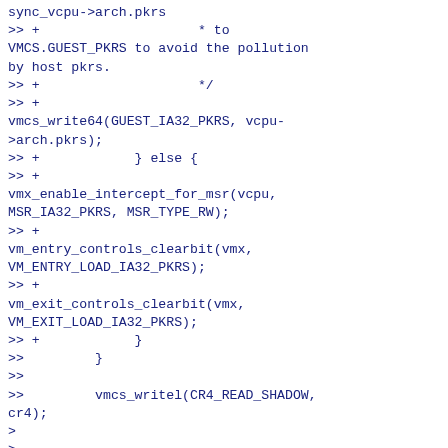sync_vcpu->arch.pkrs
>> +                    * to
VMCS.GUEST_PKRS to avoid the pollution
by host pkrs.
>> +                    */
>> +
vmcs_write64(GUEST_IA32_PKRS, vcpu->arch.pkrs);
>> +            } else {
>> +
vmx_enable_intercept_for_msr(vcpu,
MSR_IA32_PKRS, MSR_TYPE_RW);
>> +
vm_entry_controls_clearbit(vmx,
VM_ENTRY_LOAD_IA32_PKRS);
>> +
vm_exit_controls_clearbit(vmx,
VM_EXIT_LOAD_IA32_PKRS);
>> +            }
>>         }
>>
>>         vmcs_writel(CR4_READ_SHADOW,
cr4);
>
> ...
>
>> @@ -6776,6 +6841,10 @@ static
fastpath_t vmx_vcpu_run(struct kvm_vcpu
*vcpu)
>>
>>         pt_guest_exit(vmx);